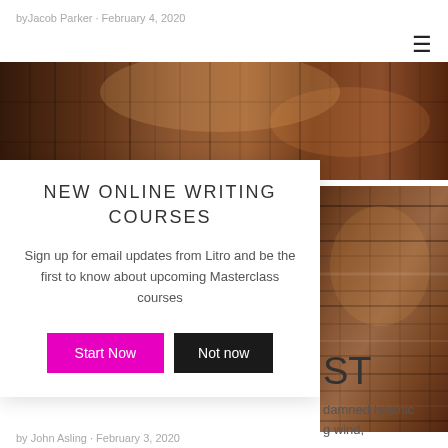by Jacob Parker · February 4, 2020
[Figure (photo): A bookstore or library with stacks of colorful books on shelves, warm orange-brown tones]
[Figure (infographic): Modal popup overlay with 'NEW ONLINE WRITING COURSES' heading, subscription text, and Start Now / Not now buttons]
NEW ONLINE WRITING COURSES
Sign up for email updates from Litro and be the first to know about upcoming Masterclass courses
...damned Islamic
g wind,
by John Asling · February 3, 2020